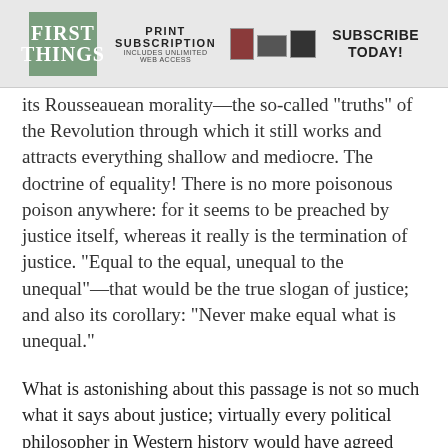[Figure (other): First Things magazine banner advertisement with logo, 'PRINT SUBSCRIPTION INCLUDES UNLIMITED WEB ACCESS', device images, and 'SUBSCRIBE TODAY!' text]
its Rousseauean morality—the so-called “truths” of the Revolution through which it still works and attracts everything shallow and mediocre. The doctrine of equality! There is no more poisonous poison anywhere: for it seems to be preached by justice itself, whereas it really is the termination of justice. “Equal to the equal, unequal to the unequal”—that would be the true slogan of justice; and also its corollary: “Never make equal what is unequal.”
What is astonishing about this passage is not so much what it says about justice; virtually every political philosopher in Western history would have agreed